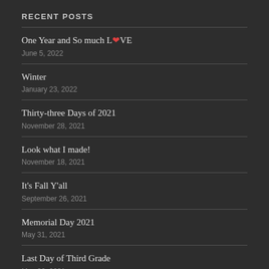RECENT POSTS
One Year and So much LOVE
June 5, 2022
Winter
January 23, 2022
Thirty-three Days of 2021
November 28, 2021
Look what I made!
November 18, 2021
It's Fall Y'all
September 26, 2021
Memorial Day 2021
May 31, 2021
Last Day of Third Grade
May 26, 2021